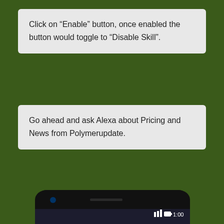Click on “Enable” button, once enabled the button would toggle to “Disable Skill”.
Go ahead and ask Alexa about Pricing and News from Polymerupdate.
[Figure (screenshot): Screenshot of an Android phone showing an Alexa skill search screen with the search query 'polymer update' typed in the search bar, showing '1 RESULT' and sort by 'Relevance', with a WhatsApp icon overlay in the bottom right of the phone.]